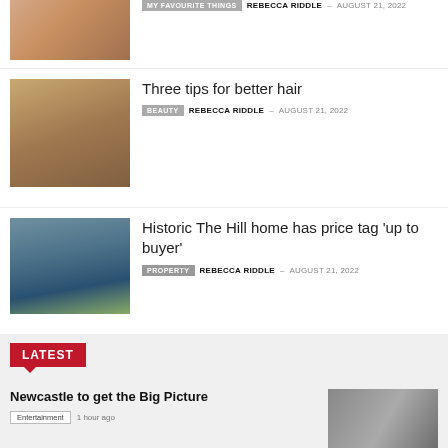[Figure (photo): Person sitting, partial view at top]
MY FAVOURITE THINGS  REBECCA RIDDLE  -  AUGUST 21, 2022
Three tips for better hair
[Figure (photo): Two women with long hair smiling]
BEAUTY  REBECCA RIDDLE  -  AUGUST 21, 2022
Historic The Hill home has price tag ‘up to buyer’
[Figure (photo): Luxury home with pool at dusk]
PROPERTY  REBECCA RIDDLE  -  AUGUST 21, 2022
LATEST
Newcastle to get the Big Picture
Entertainment  1 hour ago
[Figure (photo): People in entertainment venue]